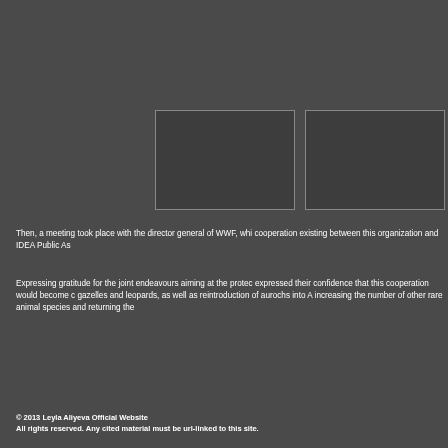[Figure (photo): Two side-by-side placeholder image boxes with dark background and grey border]
Then, a meeting took place with the director general of WWF, whi cooperation existing between this organization and IDEA Public As
Expressing gratitude for the joint endeavours aiming at the protec expressed their confidence that this cooperation would become c gazelles and leopards, as well as reintroduction of aurochs into A increasing the number of other rare animal species and returning the
© 2013 Leyla Aliyeva Official Website
All rights reserved. Any cited material must be url-linked to this site.